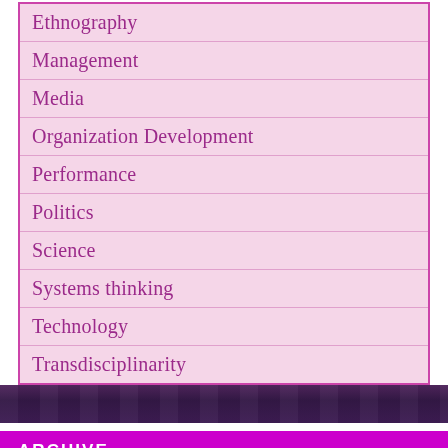Ethnography
Management
Media
Organization Development
Performance
Politics
Science
Systems thinking
Technology
Transdisciplinarity
[Figure (photo): Aerial/cityscape photo strip in dark purple tones]
ARCHIVE
February 2018
January 2018
August 2017
March 2017
January 2017